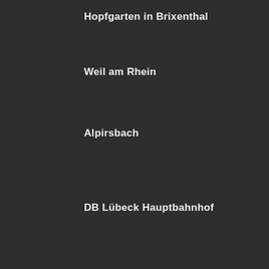Hopfgarten in Brixenthal
Weil am Rhein
Alpirsbach
DB Lübeck Hauptbahnhof